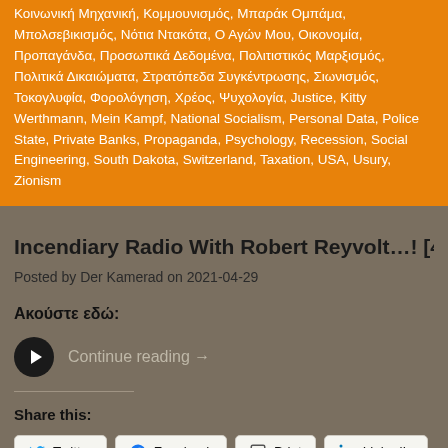Κοινωνική Μηχανική, Κομμουνισμός, Μπαράκ Ομπάμα, Μπολσεβικισμός, Νότια Ντακότα, Ο Αγών Μου, Οικονομία, Προπαγάνδα, Προσωπικά Δεδομένα, Πολιτιστικός Μαρξισμός, Πολιτικά Δικαιώματα, Στρατόπεδα Συγκέντρωσης, Σιωνισμός, Τοκογλυφία, Φορολόγηση, Χρέος, Ψυχολογία, Justice, Kitty Werthmann, Mein Kampf, National Socialism, Personal Data, Police State, Private Banks, Propaganda, Psychology, Recession, Social Engineering, South Dakota, Switzerland, Taxation, USA, Usury, Zionism
Incendiary Radio With Robert Reyvolt…! [4/18/2021] (Aud…
Posted by Der Kamerad on 2021-04-29
Ακούστε εδώ:
Continue reading →
Share this:
Twitter, Facebook, Print, LinkedIn, Reddit, Pinterest, Pocket, Telegram, WhatsApp, Skype